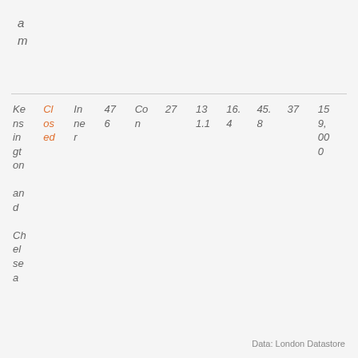a
m
| Kensington and Chelsea | Closed | Inner | 476 | Con n | 27 | 13 1.1 | 16.4 | 45.8 | 37 | 159,000 |
Data: London Datastore